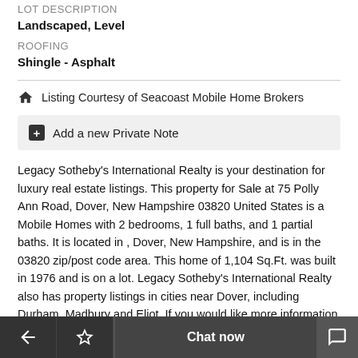LOT DESCRIPTION
Landscaped, Level
ROOFING
Shingle - Asphalt
Listing Courtesy of Seacoast Mobile Home Brokers
Add a new Private Note
Legacy Sotheby's International Realty is your destination for luxury real estate listings. This property for Sale at 75 Polly Ann Road, Dover, New Hampshire 03820 United States is a Mobile Homes with 2 bedrooms, 1 full baths, and 1 partial baths. It is located in , Dover, New Hampshire, and is in the 03820 zip/post code area. This home of 1,104 Sq.Ft. was built in 1976 and is on a lot. Legacy Sotheby's International Realty also has property listings in cities near Dover, including Durham, Madbury and Eliot. If you would like more information about this home for Sale at 75 Polly